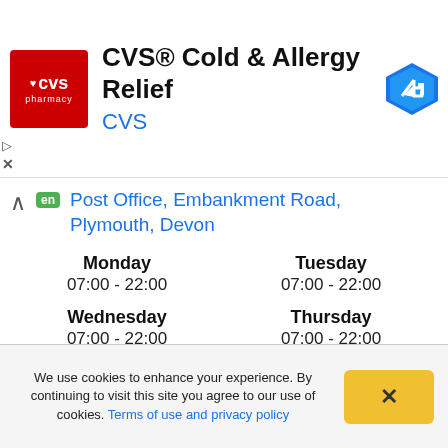[Figure (other): CVS Pharmacy ad banner with logo, title 'CVS® Cold & Allergy Relief', CVS link, and navigation arrow icon]
Post Office, Embankment Road, Plymouth, Devon
| Monday | 07:00 - 22:00 | Tuesday | 07:00 - 22:00 |
| Wednesday | 07:00 - 22:00 | Thursday | 07:00 - 22:00 |
| Friday | 07:00 - 22:00 | Saturday | 07:00 - 22:00 |
| Sunday | 07:00 - 22:00 |  |  |
We use cookies to enhance your experience. By continuing to visit this site you agree to our use of cookies. Terms of use and privacy policy